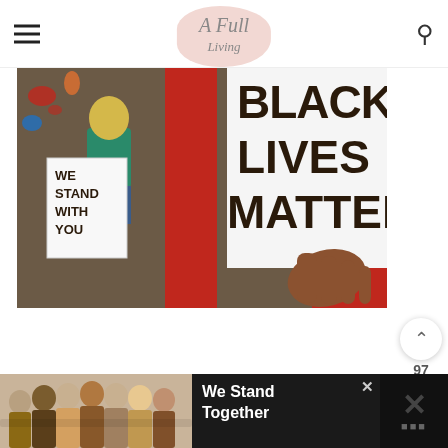A Full Living
[Figure (illustration): Painted illustration showing protesters holding signs. Left sign reads 'WE STAND WITH YOU', right large sign reads 'BLACK LIVES MATTER'. A figure in a green shirt stands on the left, and a brown hand is visible on the right holding the large sign. Red background elements and colorful paint splatters visible.]
97
2
[Figure (photo): Advertisement banner showing a group of diverse people standing together with arms around each other, viewed from behind. Text reads 'We Stand Together' on dark background.]